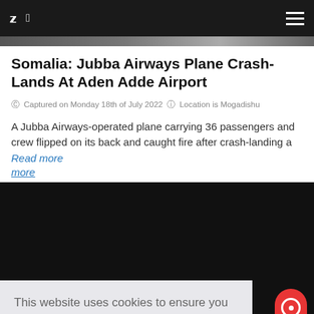Twitter  Facebook  [hamburger menu]
[Figure (photo): Partial image strip visible at top of article]
Somalia: Jubba Airways Plane Crash-Lands At Aden Adde Airport
Captured on Monday 18th of July 2022  Location is Mogadishu
A Jubba Airways-operated plane carrying 36 passengers and crew flipped on its back and caught fire after crash-landing a Read more
[Figure (screenshot): Cookie consent banner overlay on dark background. Text: This website uses cookies to ensure you get the best experience on our website. Learn more. Buttons: Decline and Allow cookies. Red TOP button in bottom right.]